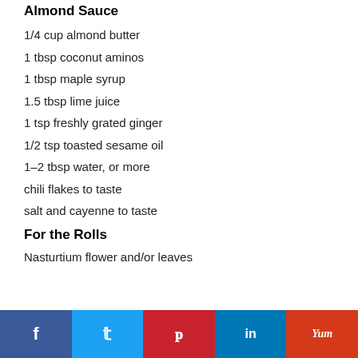Almond Sauce
1/4 cup almond butter
1 tbsp coconut aminos
1 tbsp maple syrup
1.5 tbsp lime juice
1 tsp freshly grated ginger
1/2 tsp toasted sesame oil
1–2 tbsp water, or more
chili flakes to taste
salt and cayenne to taste
For the Rolls
Nasturtium flower and/or leaves